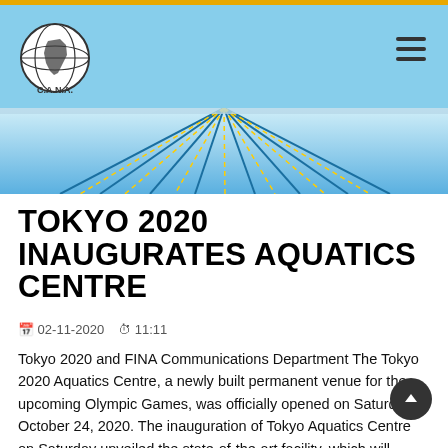CANA (Confederation of African Natation) website header with logo and navigation
[Figure (photo): Aerial view of an Olympic swimming pool with blue lanes and lane dividers]
TOKYO 2020 INAUGURATES AQUATICS CENTRE
02-11-2020  11:11
Tokyo 2020 and FINA Communications Department The Tokyo 2020 Aquatics Centre, a newly built permanent venue for the upcoming Olympic Games, was officially opened on Saturday October 24, 2020. The inauguration of Tokyo Aquatics Centre on Saturday unveiled the state-of-the-art facility, which will encourage athletes to continue with their preparations and give their best performance at the Tokyo 2020 Olympic and Paralympic Games next year, from July 23- August 8, 2021. The ceremony included a